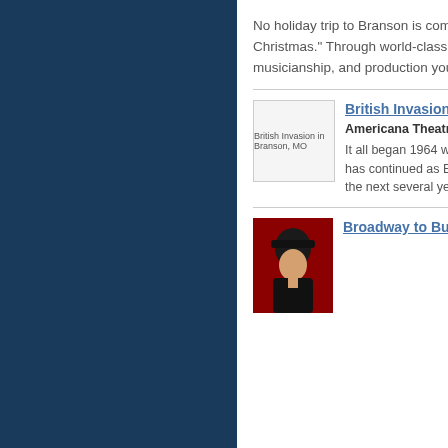No holiday trip to Branson is complete without experiencing "A Brett Family Christmas." Through world-class singing, dancing, comedy, songwriting, musicianship, and production you'll feel the joy.
[Figure (photo): British Invasion in Branson, MO placeholder image]
British Invasion
Americana Theatre
It all began 1964 when the Beatles landed in the US for the first time and has continued as British artists dominated the American music scene over the next several years.Ã
[Figure (photo): Photo of a performer in a hat on a red background for Broadway to Buble starring George Dyer]
Broadway to Buble starring George Dyer